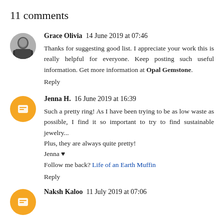11 comments
Grace Olivia  14 June 2019 at 07:46
Thanks for suggesting good list. I appreciate your work this is really helpful for everyone. Keep posting such useful information. Get more information at Opal Gemstone.
Reply
Jenna H.  16 June 2019 at 16:39
Such a pretty ring! As I have been trying to be as low waste as possible, I find it so important to try to find sustainable jewelry... Plus, they are always quite pretty!
Jenna ♥
Follow me back? Life of an Earth Muffin
Reply
Naksh Kaloo  11 July 2019 at 07:06